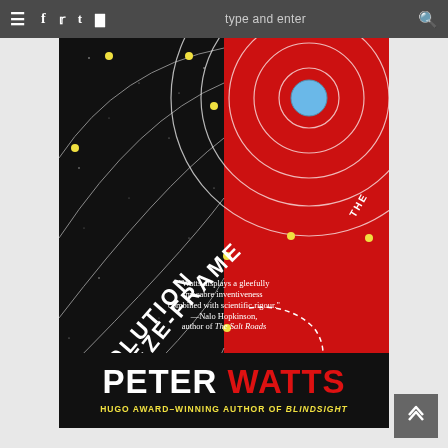≡  f  t  t  ☷  type and enter  🔍
[Figure (illustration): Book cover of 'The Freeze-Frame Revolution' by Peter Watts. Black left half with star field and concentric arc lines with yellow dots, red right half with circular radar rings and a blue planet/circle. Title text curves along arcs in white. Bottom shows author name 'PETER WATTS' in large white/red letters and subtitle 'HUGO AWARD-WINNING AUTHOR OF BLINDSIGHT' in yellow. A quote reads: 'Watts displays a gleefully macabre inventiveness combined with scientific rigour.' —Nalo Hopkinson, author of The Salt Roads. A dashed white arrow curves on the red side.]